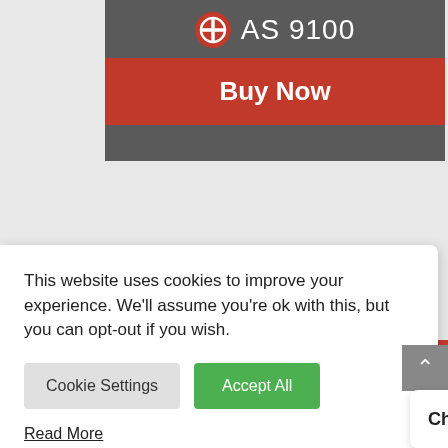[Figure (screenshot): AS 9100 product card with red Buy Now button on dark grey background]
This website uses cookies to improve your experience. We'll assume you're ok with this, but you can opt-out if you wish.
Cookie Settings
Accept All
Read More
Chat now